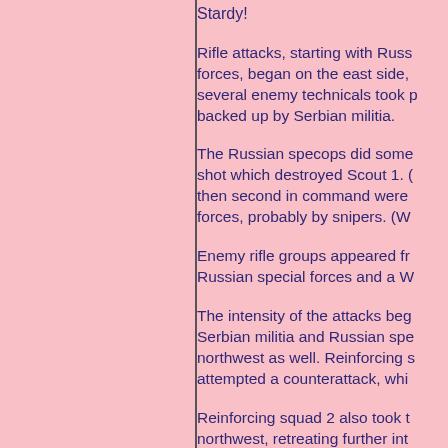Stardy!
Rifle attacks, starting with Russ forces, began on the east side, several enemy technicals took p backed up by Serbian militia.
The Russian specops did some shot which destroyed Scout 1. then second in command were forces, probably by snipers. (W
Enemy rifle groups appeared fr Russian special forces and a W
The intensity of the attacks beg Serbian militia and Russian spe northwest as well. Reinforcing s attempted a counterattack, whi
Reinforcing squad 2 also took t northwest, retreating further int crashed with the pilot surviving,
When the order came down to w squad and 2nd squad to adva